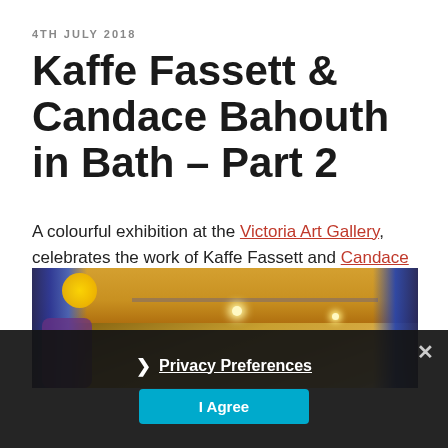4TH JULY 2018
Kaffe Fassett & Candace Bahouth in Bath – Part 2
A colourful exhibition at the Victoria Art Gallery, celebrates the work of Kaffe Fassett and Candace Bahouth.
[Figure (photo): Interior photo of the Victoria Art Gallery showing gallery ceiling with track lighting, warm amber tones, and colourful textile artworks partially visible on the left and right edges]
[Figure (screenshot): Cookie consent overlay with Privacy Preferences link and I Agree button on dark background with close X button]